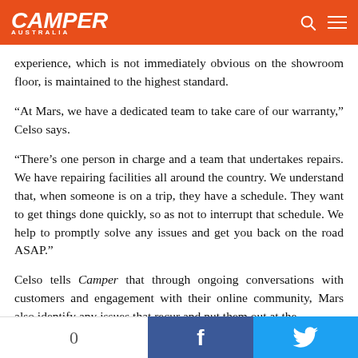CAMPER AUSTRALIA
experience, which is not immediately obvious on the showroom floor, is maintained to the highest standard.
“At Mars, we have a dedicated team to take care of our warranty,” Celso says.
“There’s one person in charge and a team that undertakes repairs. We have repairing facilities all around the country. We understand that, when someone is on a trip, they have a schedule. They want to get things done quickly, so as not to interrupt that schedule. We help to promptly solve any issues and get you back on the road ASAP.”
Celso tells Camper that through ongoing conversations with customers and engagement with their online community, Mars also identify any issues that recur and nut them out at the root.
0  f  🐦